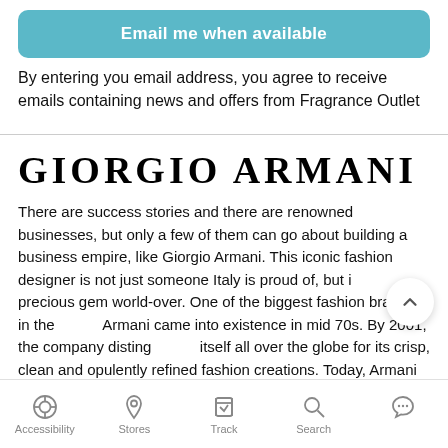[Figure (other): Teal/blue rounded button labeled 'Email me when available']
By entering you email address, you agree to receive emails containing news and offers from Fragrance Outlet
GIORGIO ARMANI
There are success stories and there are renowned businesses, but only a few of them can go about building a business empire, like Giorgio Armani. This iconic fashion designer is not just someone Italy is proud of, but is a precious gem world-over. One of the biggest fashion brands in the world, Armani came into existence in mid 70s. By 2001, the company distinguished itself all over the globe for its crisp, clean and opulently refined fashion creations. Today, Armani also has several other businesses like hotels and restaurants under the brand name.
Accessibility  Stores  Track  Search  (chat)